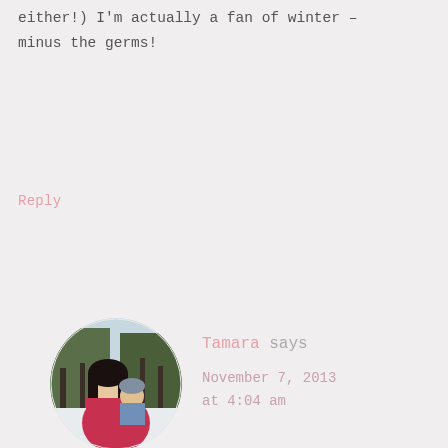either!) I'm actually a fan of winter – minus the germs!
Reply
[Figure (photo): Circular avatar photo of Tamara, a woman with long dark hair holding a child, outdoors in a snowy setting, wearing red/pink coat]
Tamara says
November 7, 2013
at 4:04 am
Privacy & Cookies: This site uses cookies. By continuing to use this website, you agree to their use.
To find out more, including how to control cookies, see here:
Cookie Policy